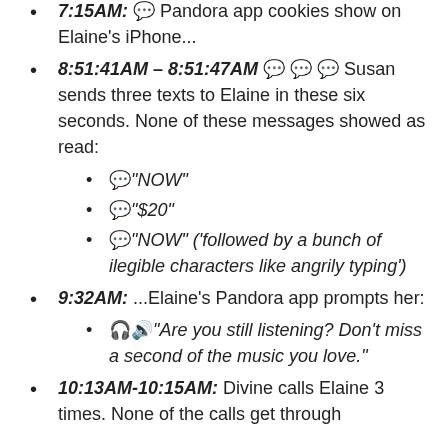7:15AM: 💬 Pandora app cookies show on Elaine's iPhone...
8:51:41AM – 8:51:47AM 💬💬💬 Susan sends three texts to Elaine in these six seconds. None of these messages showed as read:
💬 "NOW"
💬 "$20"
💬 "NOW" ('followed by a bunch of ilegible characters like angrily typing')
9:32AM: ...Elaine's Pandora app prompts her:
🎧🔊 "Are you still listening? Don't miss a second of the music you love."
10:13AM-10:15AM: Divine calls Elaine 3 times. None of the calls get through